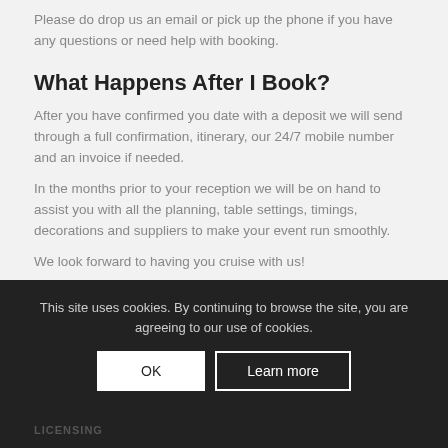Please do drop us an email or pick up the phone if you have any questions or need help with booking.
What Happens After I Book?
After you have confirmed you date with a deposit we will send through a full confirmation, itinerary, our 24/7 mobile number and an invoice if needed.
In the months prior to your reception we will be on hand to assist you with all the planning, table settings, timings, decorations and suppliers to make your event run smoothly.
We look forward to having you cruise with us!
This site uses cookies. By continuing to browse the site, you are agreeing to our use of cookies. OK Learn more LICENSING